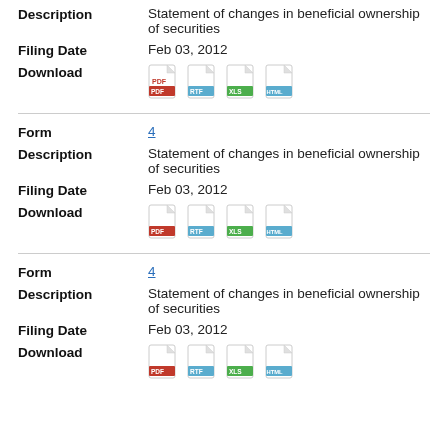Description: Statement of changes in beneficial ownership of securities
Filing Date: Feb 03, 2012
Download: PDF RTF XLS HTML
Form: 4
Description: Statement of changes in beneficial ownership of securities
Filing Date: Feb 03, 2012
Download: PDF RTF XLS HTML
Form: 4
Description: Statement of changes in beneficial ownership of securities
Filing Date: Feb 03, 2012
Download: PDF RTF XLS HTML